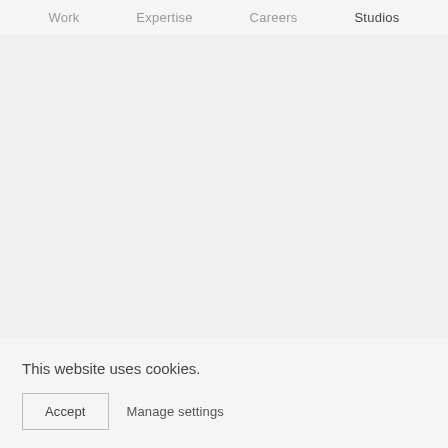Work    Expertise    Careers    Studios
This website uses cookies.
Accept
Manage settings